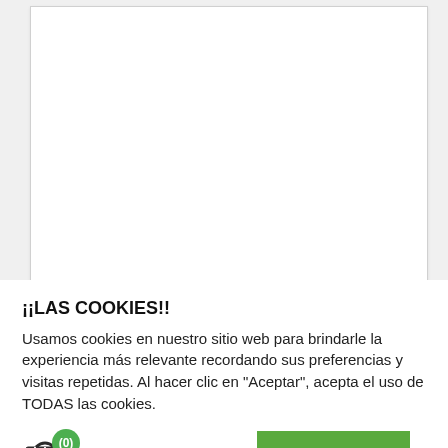[Figure (screenshot): White card/panel area, mostly blank, representing a webpage content area above a cookie consent banner.]
¡¡LAS COOKIES!!
Usamos cookies en nuestro sitio web para brindarle la experiencia más relevante recordando sus preferencias y visitas repetidas. Al hacer clic en "Aceptar", acepta el uso de TODAS las cookies.
(0) nfigurar cookies
ACEPTO